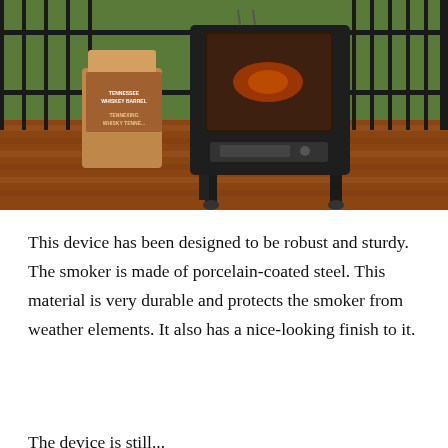[Figure (photo): A black electric smoker on a wooden deck outdoors, next to a bag of Tennessee Whiskey wood chips. The smoker has a glass window door, digital controls, and sits on wheels. It is surrounded by black metal fence/railing with green trees visible in the background.]
This device has been designed to be robust and sturdy. The smoker is made of porcelain-coated steel. This material is very durable and protects the smoker from weather elements. It also has a nice-looking finish to it.
The device is still...